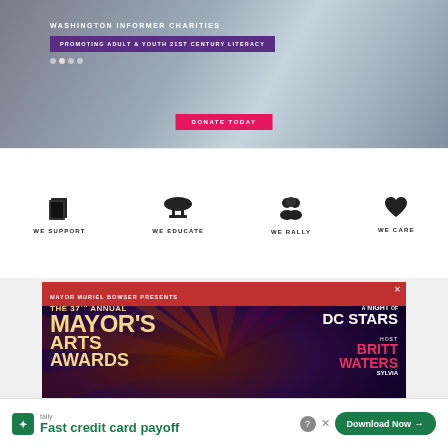[Figure (screenshot): Washington Informer Charities banner with text 'PROMOTING ADULT & YOUTH 21ST CENTURY LITERACY' on purple background, photos of children, and a DONATE TODAY button]
WE SUPPORT
WE EDUCATE
WE RALLY
WE CARE
[Figure (screenshot): Mayor Muriel Bowser Presents The 37th Annual Mayor's Arts Awards - A Night of DC Stars, Host Britt Waters, advertisement]
[Figure (screenshot): Tally app advertisement: Fast credit card payoff - Download Now button]